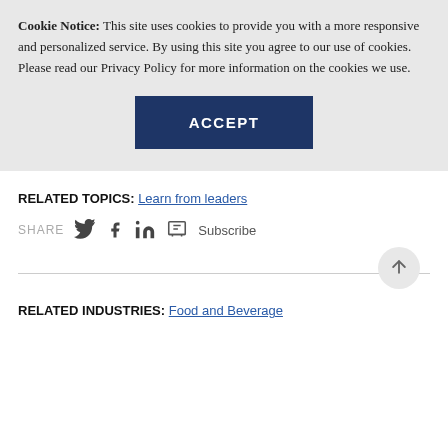Cookie Notice: This site uses cookies to provide you with a more responsive and personalized service. By using this site you agree to our use of cookies. Please read our Privacy Policy for more information on the cookies we use.
ACCEPT
RELATED TOPICS: Learn from leaders
SHARE [twitter] [facebook] [linkedin] [print] Subscribe
RELATED INDUSTRIES: Food and Beverage